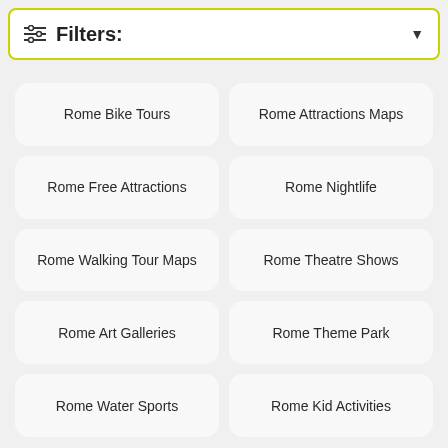Filters:
Rome Bike Tours
Rome Attractions Maps
Rome Free Attractions
Rome Nightlife
Rome Walking Tour Maps
Rome Theatre Shows
Rome Art Galleries
Rome Theme Park
Rome Water Sports
Rome Kid Activities